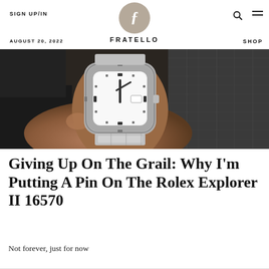SIGN UP/IN | FRATELLO | AUGUST 20, 2022 | SHOP
[Figure (photo): Close-up photograph of a person's wrist wearing a Rolex Explorer II watch with a white dial, stainless steel bracelet, and bezel markings, against a dark leather jacket background.]
Giving Up On The Grail: Why I'm Putting A Pin On The Rolex Explorer II 16570
Not forever, just for now